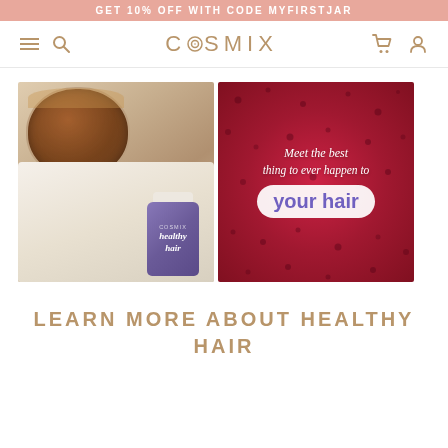GET 10% OFF WITH CODE MYFIRSTJAR
COSMIX
[Figure (photo): Left: overhead view of a glass of dark tea/liquid being poured, with a white fabric and a jar of Cosmix 'healthy hair' supplement product. Right: close-up of a red/pink berry fruit texture background with overlaid white cursive and bold text reading 'Meet the best thing to ever happen to your hair' with 'your hair' in a white rounded bubble with purple text.]
LEARN MORE ABOUT HEALTHY HAIR